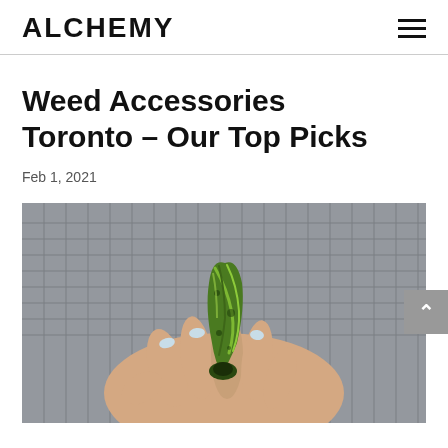ALCHEMY
Weed Accessories Toronto – Our Top Picks
Feb 1, 2021
[Figure (photo): A hand holding a small green swirled glass pipe/bowl with a grey textured background]